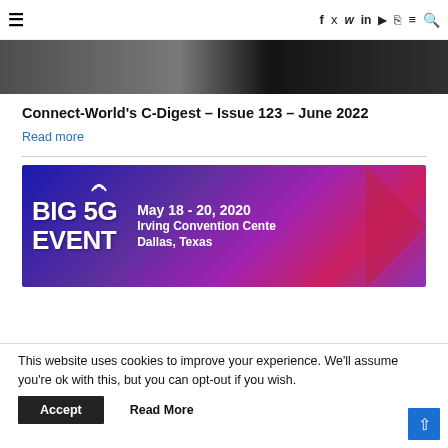Navigation bar with hamburger menu and social icons: f, Twitter, in, YouTube, RSS, menu, search
[Figure (photo): Partial top image strip showing people in dark tones, cropped at top of page]
Connect-World's C-Digest – Issue 123 – June 2022
Read more
[Figure (illustration): BIG 5G EVENT banner with purple/blue gradient background, white text reading 'BIG 5G EVENT', date 'May 18-20, 2020', venue 'Irving Convention Center Dallas, Texas', decorative arrow shapes]
This website uses cookies to improve your experience. We'll assume you're ok with this, but you can opt-out if you wish.
Accept   Read More